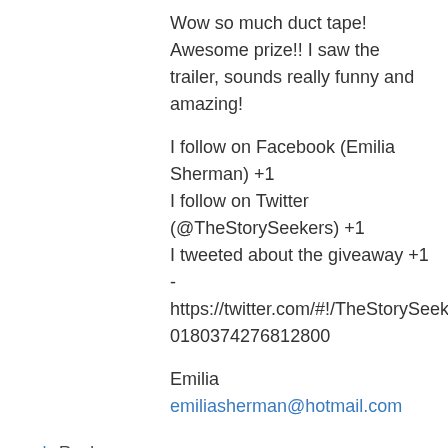Wow so much duct tape! Awesome prize!! I saw the trailer, sounds really funny and amazing!

I follow on Facebook (Emilia Sherman) +1
I follow on Twitter (@TheStorySeekers) +1
I tweeted about the giveaway +1 - https://twitter.com/#!/TheStorySeekers/status/160180374276812800

Emilia
emiliasherman@hotmail.com
↳ Reply
Margie M. on January 20, 2012 at 2:25 am
Sweet giveaway!
Blog follower (+1 F)...